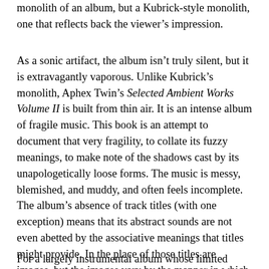monolith of an album, but a Kubrick-style monolith, one that reflects back the viewer's impression.
As a sonic artifact, the album isn't truly silent, but it is extravagantly vaporous. Unlike Kubrick's monolith, Aphex Twin's Selected Ambient Works Volume II is built from thin air. It is an intense album of fragile music. This book is an attempt to document that very fragility, to collate its fuzzy meanings, to make note of the shadows cast by its unapologetically loose forms. The music is messy, blemished, and muddy, and often feels incomplete. The album's absence of track titles (with one exception) means that its abstract sounds are not even abetted by the associative meanings that titles might provide. In the place of those titles are images, but the images vary by the manner in which the record was released: in the U.S. versus in its native United Kingdom, in digital versus physical form, on vinyl versus on compact disc. Like an especially delusional conspiracy theory, these images offer more questions than answers when they are probed. The cover depicts a logo, a stylized A, more militaristic than corporate. It looks like the markings on a spaceship discovered in the desert.
For a largely instrumental album whose limited verbal material is more